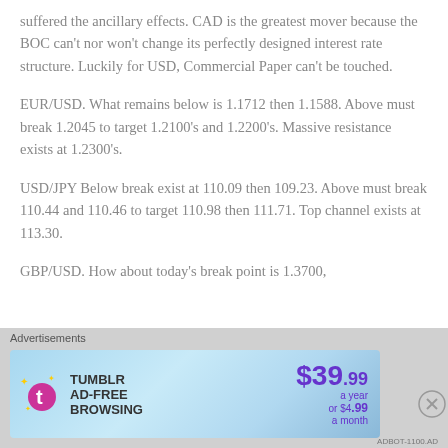suffered the ancillary effects. CAD is the greatest mover because the BOC can't nor won't change its perfectly designed interest rate structure. Luckily for USD, Commercial Paper can't be touched.
EUR/USD. What remains below is 1.1712 then 1.1588. Above must break 1.2045 to target 1.2100's and 1.2200's. Massive resistance exists at 1.2300's.
USD/JPY Below break exist at 110.09 then 109.23. Above must break 110.44 and 110.46 to target 110.98 then 111.71. Top channel exists at 113.30.
GBP/USD. How about today's break point is 1.3700,
Advertisements
[Figure (other): Tumblr AD-FREE BROWSING advertisement banner showing $39.99 a year or $4.99 a month pricing]